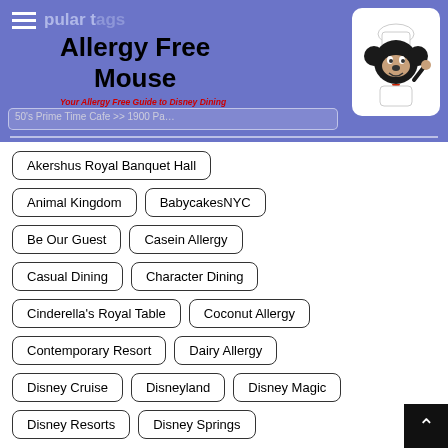[Figure (logo): Allergy Free Mouse website header with logo text and Mickey Mouse chef illustration on purple/blue background]
Popular tags
Akershus Royal Banquet Hall
Animal Kingdom
BabycakesNYC
Be Our Guest
Casein Allergy
Casual Dining
Character Dining
Cinderella's Royal Table
Coconut Allergy
Contemporary Resort
Dairy Allergy
Disney Cruise
Disneyland
Disney Magic
Disney Resorts
Disney Springs